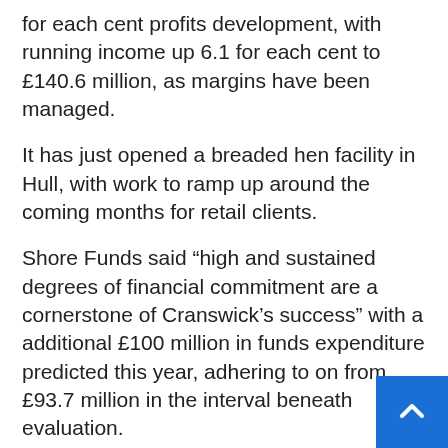for each cent profits development, with running income up 6.1 for each cent to £140.6 million, as margins have been managed.
It has just opened a breaded hen facility in Hull, with work to ramp up around the coming months for retail clients.
Shore Funds said “high and sustained degrees of financial commitment are a cornerstone of Cranswick’s success” with a additional £100 million in funds expenditure predicted this year, adhering to on from £93.7 million in the interval beneath evaluation.
Retain up-to-date with all the latest developments – follow BusinessLive Humbe Twitter and LinkedIn.